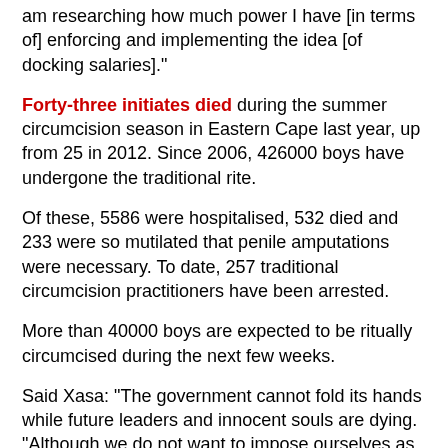am researching how much power I have [in terms of] enforcing and implementing the idea [of docking salaries]."
Forty-three initiates died during the summer circumcision season in Eastern Cape last year, up from 25 in 2012. Since 2006, 426000 boys have undergone the traditional rite.
Of these, 5586 were hospitalised, 532 died and 233 were so mutilated that penile amputations were necessary. To date, 257 traditional circumcision practitioners have been arrested.
More than 40000 boys are expected to be ritually circumcised during the next few weeks.
Said Xasa: "The government cannot fold its hands while future leaders and innocent souls are dying.
"Although we do not want to impose ourselves as the government, we cannot wait for an invitation to intervene."
Prince Mlamli Ndamase, spokesman for Western Mpondoland's King Ndamase Ndamase, said the MEC faced litigation if he went ahead with his proposal.